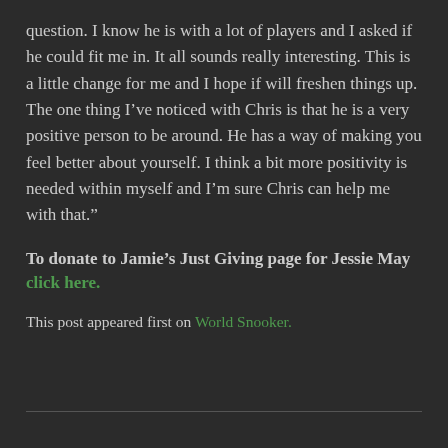question. I know he is with a lot of players and I asked if he could fit me in. It all sounds really interesting. This is a little change for me and I hope if will freshen things up. The one thing I’ve noticed with Chris is that he is a very positive person to be around. He has a way of making you feel better about yourself. I think a bit more positivity is needed within myself and I’m sure Chris can help me with that.”
To donate to Jamie’s Just Giving page for Jessie May click here.
This post appeared first on World Snooker.